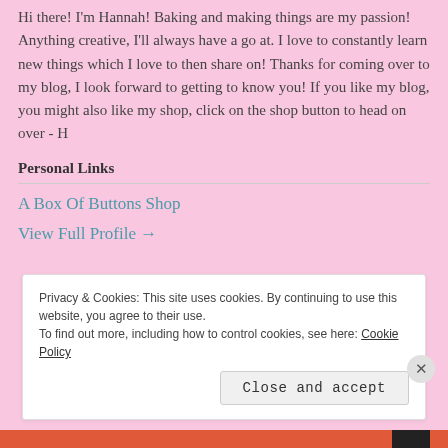Hi there! I'm Hannah! Baking and making things are my passion! Anything creative, I'll always have a go at. I love to constantly learn new things which I love to then share on! Thanks for coming over to my blog, I look forward to getting to know you! If you like my blog, you might also like my shop, click on the shop button to head on over - H
Personal Links
A Box Of Buttons Shop
View Full Profile →
Privacy & Cookies: This site uses cookies. By continuing to use this website, you agree to their use. To find out more, including how to control cookies, see here: Cookie Policy
Close and accept